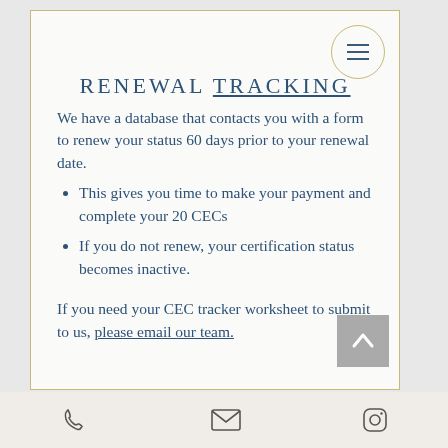RENEWAL TRACKING
We have a database that contacts you with a form to renew your status 60 days prior to your renewal date.
This gives you time to make your payment and complete your 20 CECs
If you do not renew, your certification status becomes inactive.
If you need your CEC tracker worksheet to submit to us, please email our team.